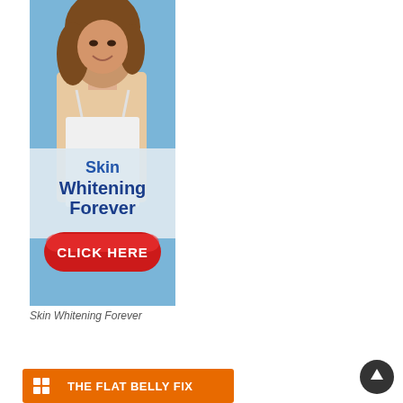[Figure (illustration): Advertisement banner for 'Skin Whitening Forever' showing a woman with brown hair in a white top against a blue background, with text 'Skin Whitening Forever' in blue and a red 'CLICK HERE' button]
Skin Whitening Forever
[Figure (illustration): Orange banner ad with a grid icon and text 'THE FLAT BELLY FIX']